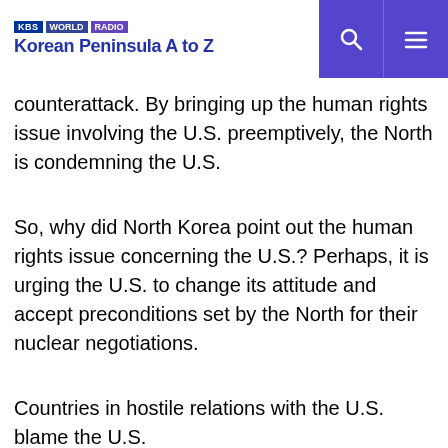KBS WORLD RADIO — Korean Peninsula A to Z
counterattack. By bringing up the human rights issue involving the U.S. preemptively, the North is condemning the U.S.
So, why did North Korea point out the human rights issue concerning the U.S.? Perhaps, it is urging the U.S. to change its attitude and accept preconditions set by the North for their nuclear negotiations.
Countries in hostile relations with the U.S. blame the U.S.